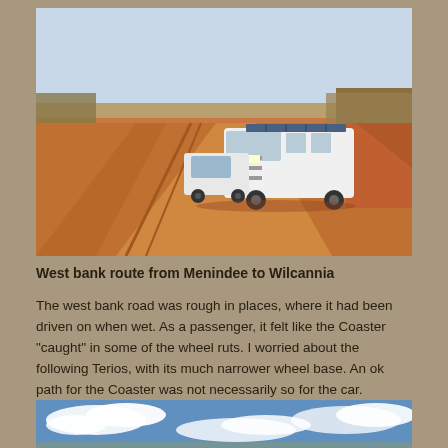[Figure (photo): A white Toyota Coaster bus and a small white car parked on a red dirt outback road in Australia. The road stretches into the distance flanked by low scrubby vegetation. Red earth and clear sky visible.]
West bank route from Menindee to Wilcannia
The west bank road was rough in places, where it had been driven on when wet. As a passenger, it felt like the Coaster "caught" in some of the wheel ruts. I worried about the following Terios, with its much narrower wheel base. An ok path for the Coaster was not necessarily so for the car.
[Figure (photo): Partial view of a blue sky with white clouds, appearing to be the outback Australian landscape, showing the top portion of a scenic sky photo.]